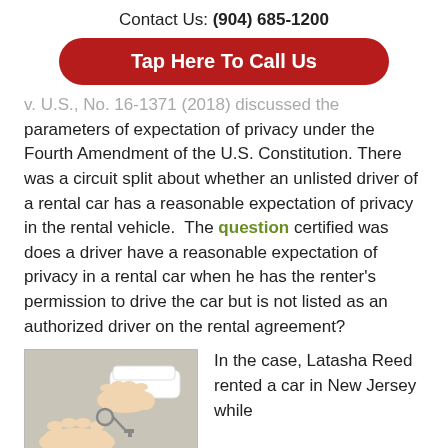Contact Us: (904) 685-1200
Tap Here To Call Us
v. U.S., No. 16-1371 (2018) discussed the parameters of expectation of privacy under the Fourth Amendment of the U.S. Constitution. There was a circuit split about whether an unlisted driver of a rental car has a reasonable expectation of privacy in the rental vehicle. The question certified was does a driver have a reasonable expectation of privacy in a rental car when he has the renter's permission to drive the car but is not listed as an authorized driver on the rental agreement?
[Figure (photo): Two hands exchanging car keys — one hand in a white sleeve handing keys to another hand, representing a car rental transaction.]
In the case, Latasha Reed rented a car in New Jersey while